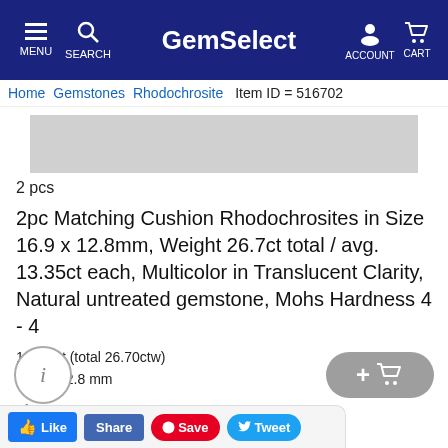GemSelect — MENU SEARCH ACCOUNT CART
Home  Gemstones  Rhodochrosite  Item ID = 516702
[Figure (photo): Product image placeholder — gray rectangle showing gemstone photo area]
2 pcs
2pc Matching Cushion Rhodochrosites in Size 16.9 x 12.8mm, Weight 26.7ct total / avg. 13.35ct each, Multicolor in Translucent Clarity, Natural untreated gemstone, Mohs Hardness 4 - 4
13.35 ct (total 26.70ctw)
16.9 x 12.8 mm
$ 26.14